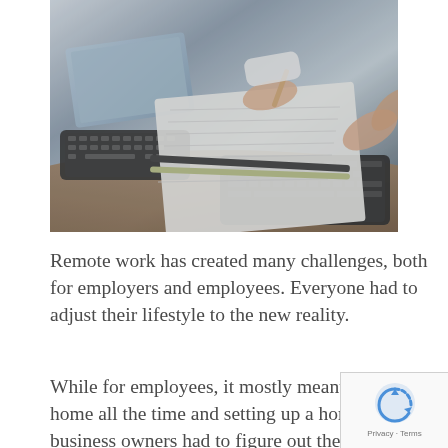[Figure (photo): Two people sitting at a desk with laptops open, one person writing on paper with a pen while the other observes. Pencils and notebooks visible on the wooden desk. Close-up shot showing hands and laptops.]
Remote work has created many challenges, both for employers and employees. Everyone had to adjust their lifestyle to the new reality.
While for employees, it mostly meant staying home all the time and setting up a home of business owners had to figure out the way for